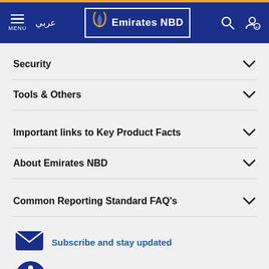Emirates NBD — Menu header with logo, Arabic text, search and account icons
Security
Tools & Others
Important links to Key Product Facts
About Emirates NBD
Common Reporting Standard FAQ's
Subscribe and stay updated